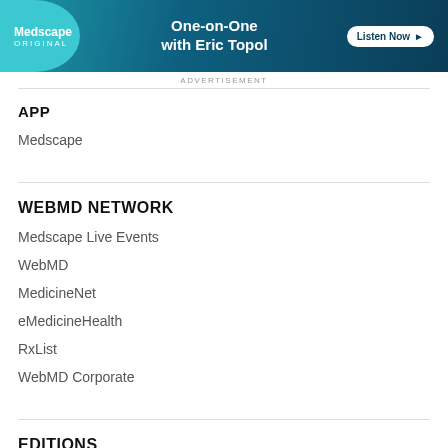[Figure (illustration): Medscape ORIGINAL advertisement banner: teal and dark blue background with text 'One-on-One with Eric Topol' and a 'Listen Now' button]
ADVERTISEMENT
APP
Medscape
WEBMD NETWORK
Medscape Live Events
WebMD
MedicineNet
eMedicineHealth
RxList
WebMD Corporate
EDITIONS